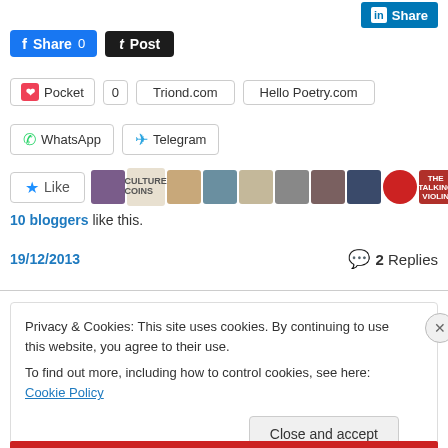[Figure (screenshot): LinkedIn Share button (blue)]
[Figure (screenshot): Facebook Share 0 button and Tumblr Post button]
[Figure (screenshot): Pocket button with count 0, Triond.com button, Hello Poetry.com button]
[Figure (screenshot): WhatsApp and Telegram share buttons]
[Figure (screenshot): Like button with 10 blogger avatars]
10 bloggers like this.
19/12/2013
2 Replies
Privacy & Cookies: This site uses cookies. By continuing to use this website, you agree to their use.
To find out more, including how to control cookies, see here: Cookie Policy